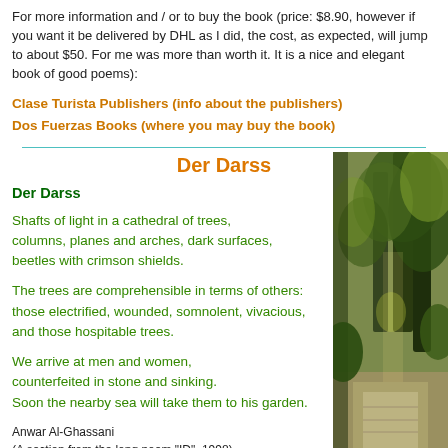For more information and / or to buy the book (price: $8.90, however if you want it be delivered by DHL as I did, the cost, as expected, will jump to about $50. For me was more than worth it. It is a nice and elegant book of good poems):
Clase Turista Publishers (info about the publishers)
Dos Fuerzas Books (where you may buy the book)
Der Darss
Der Darss
Shafts of light in a cathedral of trees,
columns, planes and arches, dark surfaces,
beetles with crimson shields.

The trees are comprehensible in terms of others:
those electrified, wounded, somnolent, vivacious,
and those hospitable trees.

We arrive at men and women,
counterfeited in stone and sinking.
Soon the nearby sea will take them to his garden.
Anwar Al-Ghassani
(A section from the long poem "ID", 1998)
Der Darss: The Darss peninsula, Germany.
[Figure (photo): Photo of a forested path or garden scene with trees, green foliage, and a stone pathway, taken outdoors in natural light.]